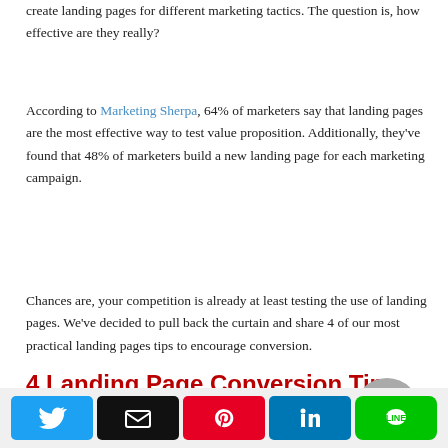create landing pages for different marketing tactics. The question is, how effective are they really?
According to Marketing Sherpa, 64% of marketers say that landing pages are the most effective way to test value proposition. Additionally, they've found that 48% of marketers build a new landing page for each marketing campaign.
Chances are, your competition is already at least testing the use of landing pages. We've decided to pull back the curtain and share 4 of our most practical landing pages tips to encourage conversion.
4 Landing Page Conversion Tips
[Figure (infographic): Social sharing bar with Twitter, Email, Pinterest, LinkedIn, and Line buttons]